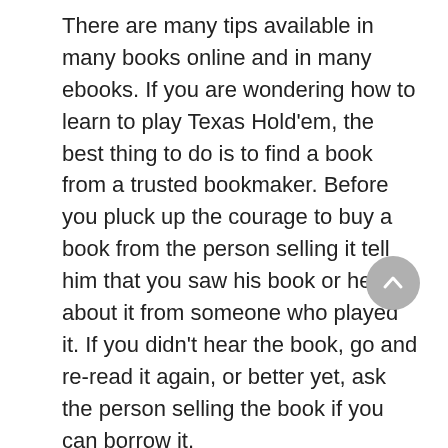There are many tips available in many books online and in many ebooks. If you are wondering how to learn to play Texas Hold'em, the best thing to do is to find a book from a trusted bookmaker. Before you pluck up the courage to buy a book from the person selling it tell him that you saw his book or hear about it from someone who played it. If you didn't hear the book, go and re-read it again, or better yet, ask the person selling the book if you can borrow it.
From the book, you can then formulate your own strategy. You can do this by either sticking with the current strategy you are using, or